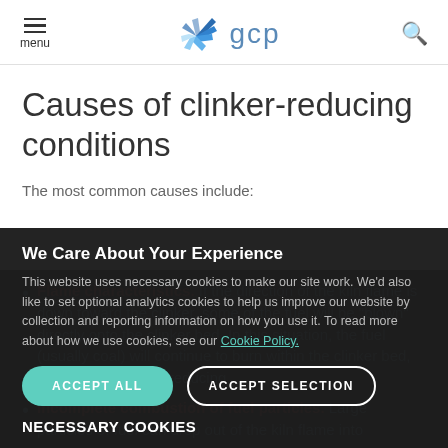menu | gcp | [search icon]
Causes of clinker-reducing conditions
The most common causes include:
Flame characteristics. If the direction of the kiln flame is down toward the clinker, some of the fuel will be "blown" directly onto the clinker bed. In this situation, the fuel (usually coal) will continue to burn within the clinker bed, leading to localised reducing ...
We Care About Your Experience
This website uses necessary cookies to make our site work. We'd also like to set optional analytics cookies to help us improve our website by collection and reporting information on how you use it. To read more about how we use cookies, see our Cookie Policy.
ACCEPT ALL   ACCEPT SELECTION
Incomplete combustion of fuel particles. Large particles of fuel can drop out of the kiln flame into
NECESSARY COOKIES